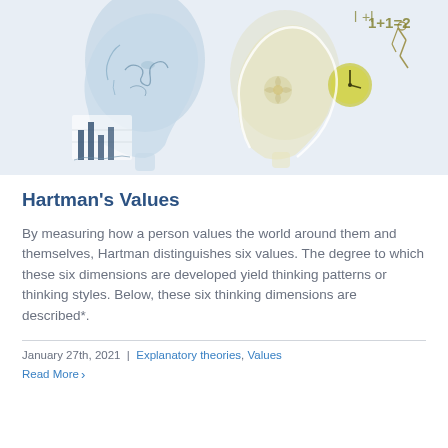[Figure (illustration): Artistic illustration of two human head silhouettes, one with brain activity symbols. The image includes drawings of bar charts, a clock, mathematical formula 1+1=2, and a robotic arm figure, suggesting concepts of thinking, cognition, and value measurement. Rendered in soft blue watercolor tones with yellow-green accents.]
Hartman's Values
By measuring how a person values the world around them and themselves, Hartman distinguishes six values. The degree to which these six dimensions are developed yield thinking patterns or thinking styles. Below, these six thinking dimensions are described*.
January 27th, 2021  |  Explanatory theories, Values
Read More >